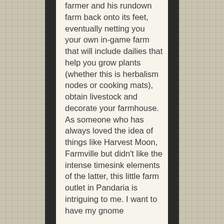farmer and his rundown farm back onto its feet, eventually netting you your own in-game farm that will include dailies that help you grow plants (whether this is herbalism nodes or cooking mats), obtain livestock and decorate your farmhouse. As someone who has always loved the idea of things like Harvest Moon, Farmville but didn't like the intense timesink elements of the latter, this little farm outlet in Pandaria is intriguing to me. I want to have my gnome